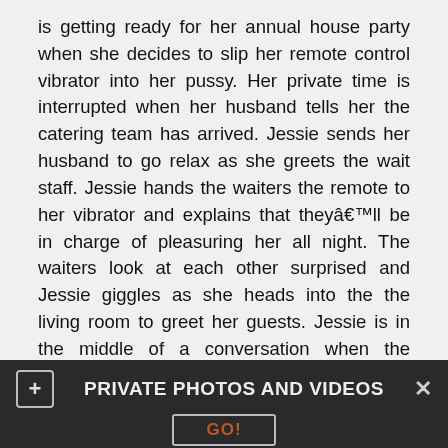is getting ready for her annual house party when she decides to slip her remote control vibrator into her pussy. Her private time is interrupted when her husband tells her the catering team has arrived. Jessie sends her husband to go relax as she greets the wait staff. Jessie hands the waiters the remote to her vibrator and explains that theyâll be in charge of pleasuring her all night. The waiters look at each other surprised and Jessie giggles as she heads into the the living room to greet her guests. Jessie is in the middle of a conversation when the waiters remotely activate her vibrator. Jessie writhes around in pleasure as her guests watch confused. The waiters take turns controlling the vibrator and Jessie can barely contain her pleasure. Jessie's husband looks at her concerned and she excuses herself to go lie down. On her way to the bedroom, Jessie passes by the kitchen and signals for a waiter to follow her. She leads him to the bedroom to where he
PRIVATE PHOTOS AND VIDEOS
GO!